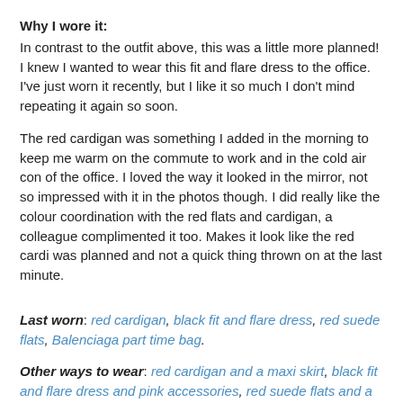Why I wore it:
In contrast to the outfit above, this was a little more planned! I knew I wanted to wear this fit and flare dress to the office. I've just worn it recently, but I like it so much I don't mind repeating it again so soon.

The red cardigan was something I added in the morning to keep me warm on the commute to work and in the cold air con of the office. I loved the way it looked in the mirror, not so impressed with it in the photos though. I did really like the colour coordination with the red flats and cardigan, a colleague complimented it too. Makes it look like the red cardi was planned and not a quick thing thrown on at the last minute.
Last worn: red cardigan, black fit and flare dress, red suede flats, Balenciaga part time bag.
Other ways to wear: red cardigan and a maxi skirt, black fit and flare dress and pink accessories, red suede flats and a